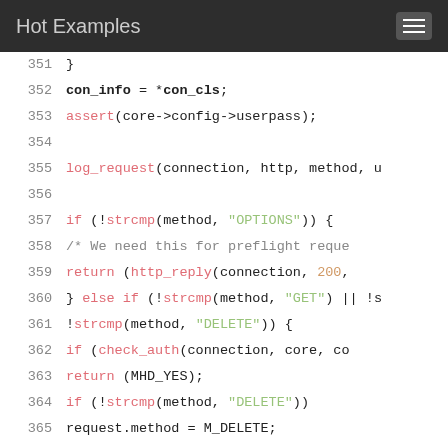Hot Examples
[Figure (screenshot): Code viewer showing C source code lines 351-370 with syntax highlighting on a white background]